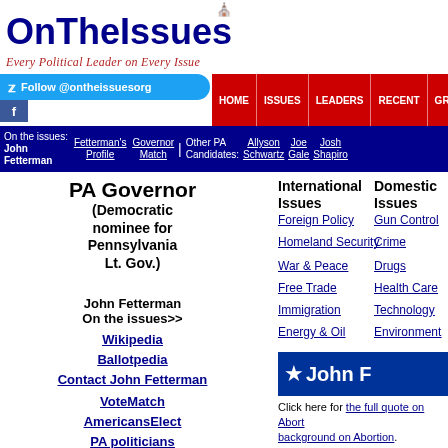OnTheIssues Every Political Leader on Every Issue
Follow @ontheissuesorg
HOME | ISSUES | LEADERS | RECENT | GRID | ARCH
On the issues: John Fetterman | Fetterman's Profile | Governor Match | Other PA Candidates: Allyson Schwartz | Joe Gale | Josh Shapiro
PA Governor
(Democratic nominee for Pennsylvania Lt. Gov.)
John Fetterman On the issues>>
Wikipedia
Ballotpedia
Contact John Fetterman
VoteMatch
AmericansElect
PA politicians
International Issues
Foreign Policy
Homeland Security
War & Peace
Free Trade
Immigration
Energy & Oil
Domestic Issues
Gun Control
Crime
Drugs
Health Care
Technology
Environment
★ John F
Click here for the full quote on Abortion background on Abortion.